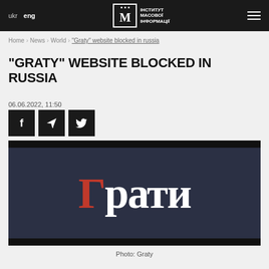ukr  eng  ІНСТИТУТ МАСОВОЇ ІНФОРМАЦІЇ
Home > News > World > "Graty" website blocked in russia
"GRATY" WEBSITE BLOCKED IN RUSSIA
06.06.2022, 11:50
[Figure (illustration): Social sharing icons for Facebook, Telegram, and Twitter]
[Figure (photo): Graty media outlet logo on dark navy background with black bars at top and bottom. Shows the Cyrillic word Грати in large serif font, with the first letter Г highlighted in red/crimson color.]
Photo: Graty